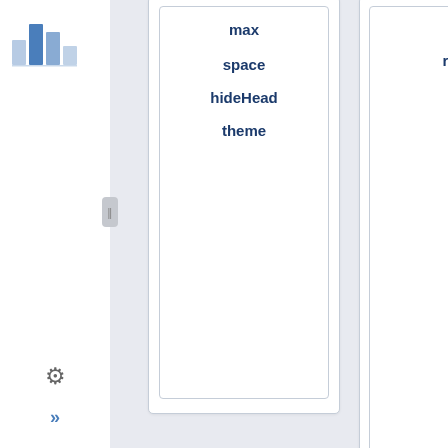[Figure (screenshot): UI component tree / macro browser screenshot showing nested card panels with properties: max, space, hideHeader, theme, sort, reverse, cql, showLabels, showSpace, showLabel, VisibleForAnonymous, bgColor, titleColor, titleBGColor, title, bgColor (panel), and sidebar with bar chart icon, gear icon, double chevron]
max
space
hideHeader
theme
sort
reverse
cql
Conte
showLabel
max
showSpace
sort
reverse
cql
Fuas visible
VisibleForAnonymous
Fuas visible
VisibleFor
VisibleForE
VisibleForAnonymous
Panel
bgColor
titleColor
titleBGColor
title
Panel
bgColor
Alle Wartungsseiten abonnieren
Abonnieren